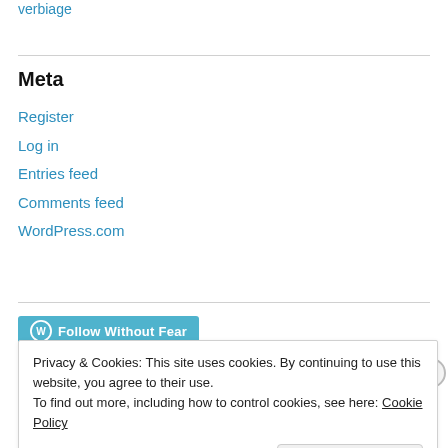verbiage
Meta
Register
Log in
Entries feed
Comments feed
WordPress.com
Follow Without Fear
Privacy & Cookies: This site uses cookies. By continuing to use this website, you agree to their use.
To find out more, including how to control cookies, see here: Cookie Policy